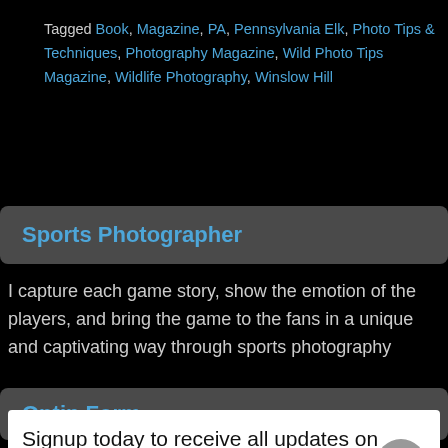Tagged Book, Magazine, PA, Pennsylvania Elk, Photo Tips & Techniques, Photography Magazine, Wild Photo Tips Magazine, Wildlife Photography, Winslow Hill
Sports Photographer
I capture each game story, show the emotion of the players, and bring the game to the fans in a unique and captivating way through sports photography
Optin Form
Signup today to receive all updates on Bob Shank Photography's Blog!